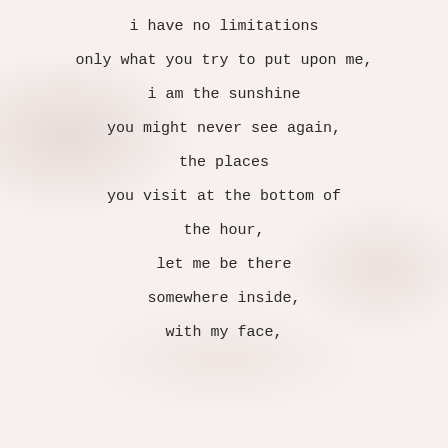i have no limitations
only what you try to put upon me,
i am the sunshine
you might never see again,
the places
you visit at the bottom of
the hour,
let me be there
somewhere inside,
with my face,